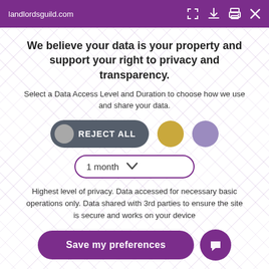landlordsguild.com
We believe your data is your property and support your right to privacy and transparency.
Select a Data Access Level and Duration to choose how we use and share your data.
[Figure (infographic): Three toggle/button options: 'REJECT ALL' pill-shaped dark grey button with grey circle icon, a gold circle, and a lavender circle]
[Figure (infographic): Dropdown selector showing '1 month' with a chevron, bordered in purple]
Highest level of privacy. Data accessed for necessary basic operations only. Data shared with 3rd parties to ensure the site is secure and works on your device
[Figure (infographic): 'Save my preferences' purple pill button and a purple circular chat icon]